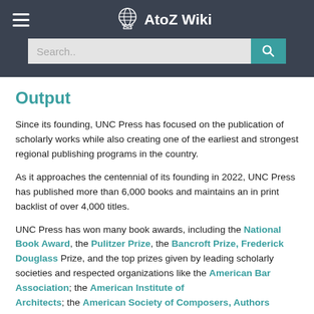AtoZ Wiki
Output
Since its founding, UNC Press has focused on the publication of scholarly works while also creating one of the earliest and strongest regional publishing programs in the country.
As it approaches the centennial of its founding in 2022, UNC Press has published more than 6,000 books and maintains an in print backlist of over 4,000 titles.
UNC Press has won many book awards, including the National Book Award, the Pulitzer Prize, the Bancroft Prize, Frederick Douglass Prize, and the top prizes given by leading scholarly societies and respected organizations like the American Bar Association; the American Institute of Architects; the American Society of Composers, Authors…